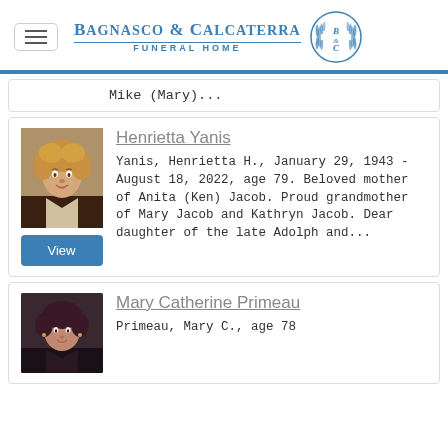Bagnasco & Calcaterra Funeral Home
Mike (Mary)...
Henrietta Yanis
Yanis, Henrietta H., January 29, 1943 - August 18, 2022, age 79. Beloved mother of Anita (Ken) Jacob. Proud grandmother of Mary Jacob and Kathryn Jacob. Dear daughter of the late Adolph and...
Mary Catherine Primeau
Primeau, Mary C., age 78